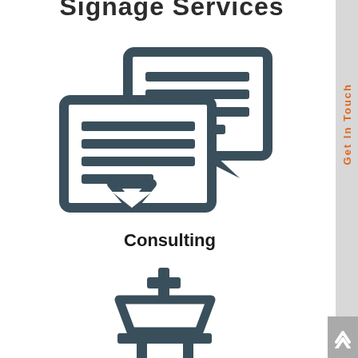Signage Services
[Figure (illustration): Two overlapping speech/chat bubble icons with horizontal lines inside, representing consulting communication, dark slate color]
Consulting
[Figure (illustration): Presentation easel/board icon with a plus symbol on top, dark slate color]
Get In Touch